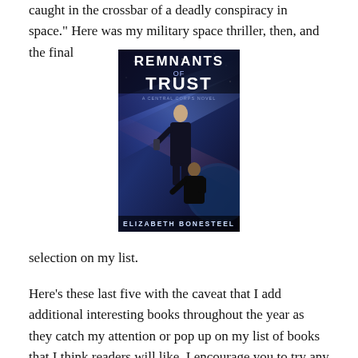caught in the crossbar of a deadly conspiracy in space." Here was my military space thriller, then, and the final
[Figure (photo): Book cover of 'Remnants of Trust' by Elizabeth Bonesteel, showing two figures in space with dramatic lighting.]
selection on my list.
Here's these last five with the caveat that I add additional interesting books throughout the year as they catch my attention or pop up on my list of books that I think readers will like. I encourage you to try any of them and let me know what you think.